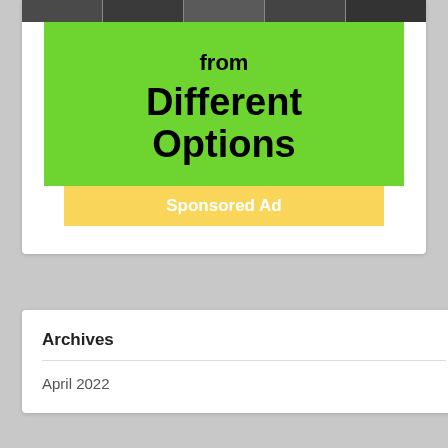[Figure (photo): Photo strip at top of card showing a row of black and white thumbnail images]
from
Different Options
Sponsored Ad
Archives
April 2022